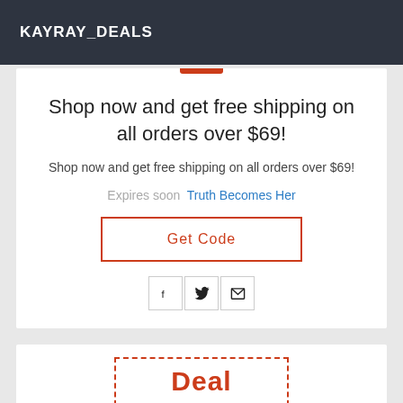KAYRAY_DEALS
Shop now and get free shipping on all orders over $69!
Shop now and get free shipping on all orders over $69!
Expires soon   Truth Becomes Her
[Figure (other): Get Code button with orange/red border]
[Figure (other): Social share icons: Facebook, Twitter, Email]
[Figure (other): Deal text in dashed red border box at bottom of page]